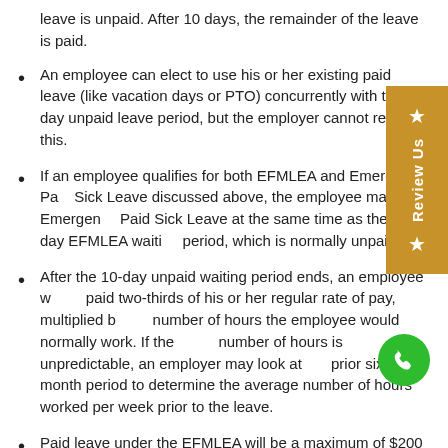leave is unpaid. After 10 days, the remainder of the leave is paid.
An employee can elect to use his or her existing paid leave (like vacation days or PTO) concurrently with the 10-day unpaid leave period, but the employer cannot require this.
If an employee qualifies for both EFMLEA and Emergency Paid Sick Leave discussed above, the employee may use Emergency Paid Sick Leave at the same time as the 10 day EFMLEA waiting period, which is normally unpaid.
After the 10-day unpaid waiting period ends, an employee will be paid two-thirds of his or her regular rate of pay, multiplied by the number of hours the employee would normally work. If the number of hours is unpredictable, an employer may look at the prior six-month period to determine the average number of hours worked per week prior to the leave.
Paid leave under the EFMLEA will be a maximum of $200 per day and $10,000 in total for the duration of the leave. After the $10,000 maximum is reached, the remainder of the leave, up to 12 weeks, is unpaid.